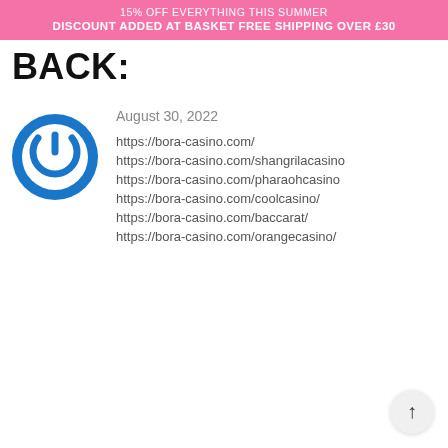15% OFF EVERYTHING THIS SUMMER
DISCOUNT ADDED AT BASKET FREE SHIPPING OVER £30
BACK:
[Figure (logo): Blue circular power button / on-off symbol logo]
August 30, 2022
https://bora-casino.com/
https://bora-casino.com/shangrilacasino
https://bora-casino.com/pharaohcasino
https://bora-casino.com/coolcasino/
https://bora-casino.com/baccarat/
https://bora-casino.com/orangecasino/